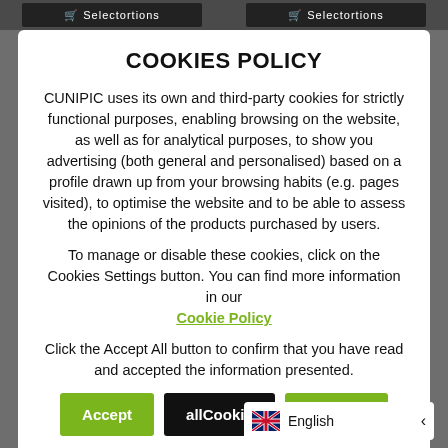COOKIES POLICY
CUNIPIC uses its own and third-party cookies for strictly functional purposes, enabling browsing on the website, as well as for analytical purposes, to show you advertising (both general and personalised) based on a profile drawn up from your browsing habits (e.g. pages visited), to optimise the website and to be able to assess the opinions of the products purchased by users.
To manage or disable these cookies, click on the Cookies Settings button. You can find more information in our Cookie Policy
Click the Accept All button to confirm that you have read and accepted the information presented.
Accept | allCookie | Settings
After accepting, we will not show y...